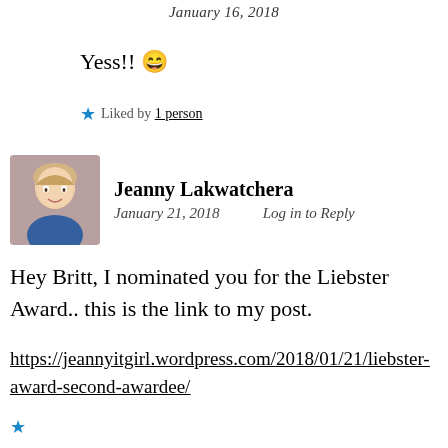January 16, 2018
Yess!! 😄
★ Liked by 1 person
Jeanny Lakwatchera
January 21, 2018   Log in to Reply
Hey Britt, I nominated you for the Liebster Award.. this is the link to my post.
https://jeannyitgirl.wordpress.com/2018/01/21/liebster-award-second-awardee/